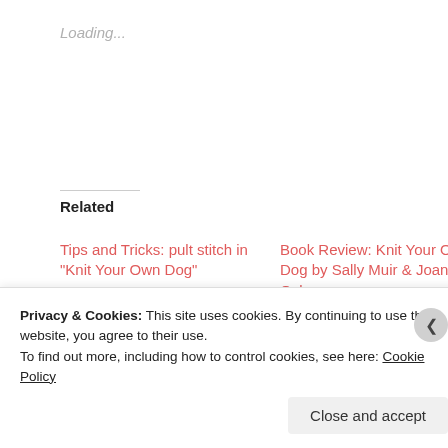Loading...
Related
Tips and Tricks: pult stitch in “Knit Your Own Dog”
March 23, 2011
In "Tips and Tricks"
Book Review: Knit Your Own Dog by Sally Muir & Joanna Osborne
February 16, 2011
In "Book Review"
FO Friday: Poodle for Hire
September 14, 2012
In "Finished Object Friday"
Privacy & Cookies: This site uses cookies. By continuing to use this website, you agree to their use.
To find out more, including how to control cookies, see here: Cookie Policy
Close and accept